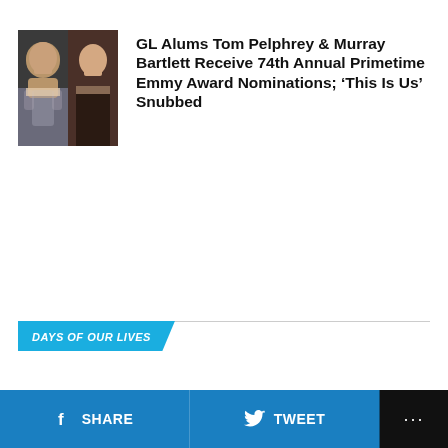[Figure (photo): Two headshot photos side by side: left photo shows a dark-haired man in a grey suit jacket, right photo shows an older man in a dark shirt]
GL Alums Tom Pelphrey & Murray Bartlett Receive 74th Annual Primetime Emmy Award Nominations; ‘This Is Us’ Snubbed
DAYS OF OUR LIVES
SHARE  TWEET  ...